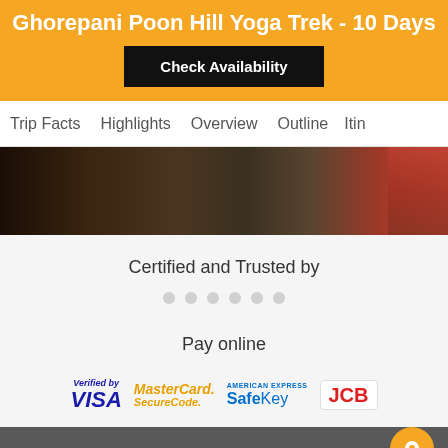Ghorepani Poon Hill Yoga Trek - 10 Days
Check Availability
Trip Facts  Highlights  Overview  Outline  Itin
[Figure (photo): Outdoor trekking photo with dark earthy tones and colorful flag visible at right edge]
Certified and Trusted by
Pay online
[Figure (infographic): Payment logos: Verified by VISA, MasterCard SecureCode, American Express SafeKey, JCB]